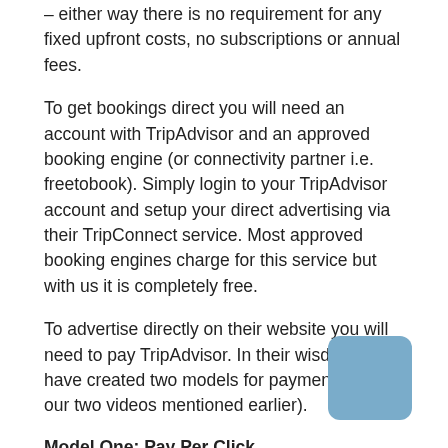– either way there is no requirement for any fixed upfront costs, no subscriptions or annual fees.
To get bookings direct you will need an account with TripAdvisor and an approved booking engine (or connectivity partner i.e. freetobook). Simply login to your TripAdvisor account and setup your direct advertising via their TripConnect service. Most approved booking engines charge for this service but with us it is completely free.
To advertise directly on their website you will need to pay TripAdvisor. In their wisdom they have created two models for payment (hence our two videos mentioned earlier).
Model One: Pay Per Click